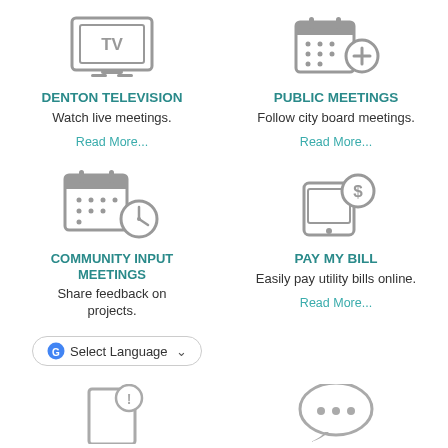[Figure (illustration): TV monitor icon with 'TV' text on screen]
DENTON TELEVISION
Watch live meetings.
Read More...
[Figure (illustration): Calendar with plus sign icon]
PUBLIC MEETINGS
Follow city board meetings.
Read More...
[Figure (illustration): Calendar with clock icon]
COMMUNITY INPUT MEETINGS
Share feedback on projects.
[Figure (illustration): Mobile device with dollar sign icon]
PAY MY BILL
Easily pay utility bills online.
Read More...
[Figure (illustration): Select Language Google Translate widget button]
[Figure (illustration): Notification/alert door icon (partially visible)]
[Figure (illustration): Chat/speech bubble icon (partially visible)]